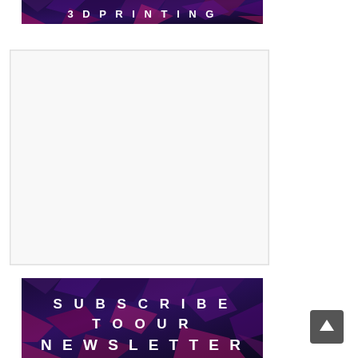[Figure (illustration): Top banner with dark blue/purple geometric polygon background with text '3D PRINTING' in white spaced letters]
[Figure (other): Large white/light gray rectangular content placeholder area with border]
[Figure (illustration): Subscribe newsletter banner with dark blue/purple geometric polygon background and text 'SUBSCRIBE TO OUR NEWSLETTER' in white spaced letters]
[Figure (other): Scroll-to-top button in bottom right corner, dark gray rounded square with upward arrow]